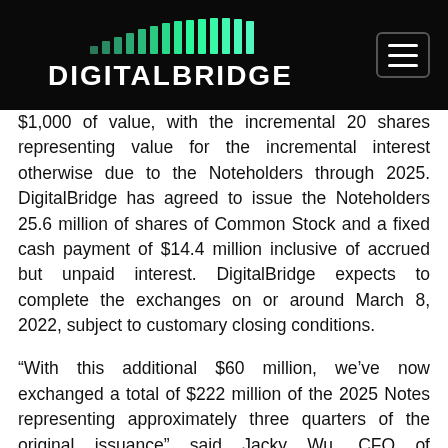DIGITALBRIDGE
$1,000 of value, with the incremental 20 shares representing value for the incremental interest otherwise due to the Noteholders through 2025. DigitalBridge has agreed to issue the Noteholders 25.6 million of shares of Common Stock and a fixed cash payment of $14.4 million inclusive of accrued but unpaid interest. DigitalBridge expects to complete the exchanges on or around March 8, 2022, subject to customary closing conditions.
“With this additional $60 million, we’ve now exchanged a total of $222 million of the 2025 Notes representing approximately three quarters of the original issuance” said Jacky Wu, CFO of DigitalBridge. “The annualized $13 million interest savings highlights the continued improvement of our capital structure and increased DigitalBridge’s financial…”